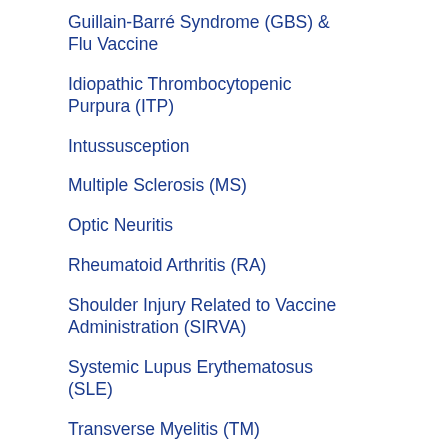Guillain-Barré Syndrome (GBS) & Flu Vaccine
Idiopathic Thrombocytopenic Purpura (ITP)
Intussusception
Multiple Sclerosis (MS)
Optic Neuritis
Rheumatoid Arthritis (RA)
Shoulder Injury Related to Vaccine Administration (SIRVA)
Systemic Lupus Erythematosus (SLE)
Transverse Myelitis (TM)
Varicella-Associated Adverse